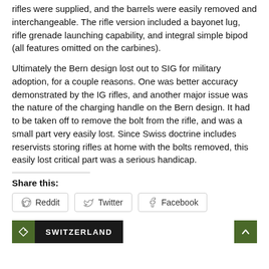rifles were supplied, and the barrels were easily removed and interchangeable. The rifle version included a bayonet lug, rifle grenade launching capability, and integral simple bipod (all features omitted on the carbines).
Ultimately the Bern design lost out to SIG for military adoption, for a couple reasons. One was better accuracy demonstrated by the IG rifles, and another major issue was the nature of the charging handle on the Bern design. It had to be taken off to remove the bolt from the rifle, and was a small part very easily lost. Since Swiss doctrine includes reservists storing rifles at home with the bolts removed, this easily lost critical part was a serious handicap.
Share this:
Reddit  Twitter  Facebook
SWITZERLAND